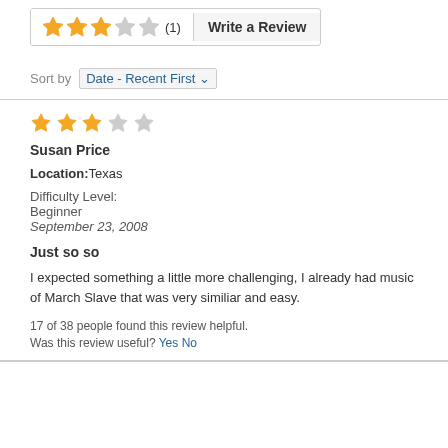[Figure (other): Star rating widget showing 3 filled orange stars, 1 empty star, 1 empty gray star, with count (1) and a Write a Review button]
Sort by  Date - Recent First
[Figure (other): 4-star rating (3 filled, 1 empty) for the review]
Susan Price
Location: Texas
Difficulty Level:
Beginner
September 23, 2008
Just so so
I expected something a little more challenging, I already had music of March Slave that was very similiar and easy.
17 of 38 people found this review helpful.
Was this review useful? Yes No